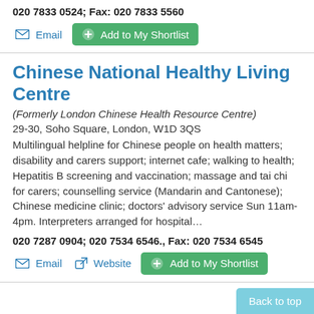020 7833 0524; Fax: 020 7833 5560
Email  Add to My Shortlist
Chinese National Healthy Living Centre
(Formerly London Chinese Health Resource Centre)
29-30, Soho Square, London, W1D 3QS
Multilingual helpline for Chinese people on health matters; disability and carers support; internet cafe; walking to health; Hepatitis B screening and vaccination; massage and tai chi for carers; counselling service (Mandarin and Cantonese); Chinese medicine clinic; doctors' advisory service Sun 11am-4pm. Interpreters arranged for hospital…
020 7287 0904; 020 7534 6546., Fax: 020 7534 6545
Email  Website  Add to My Shortlist
Back to top